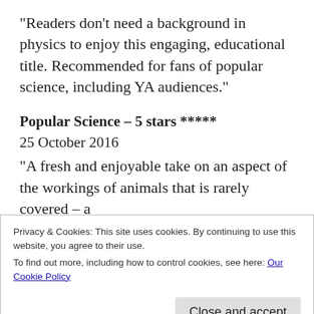“Readers don’t need a background in physics to enjoy this engaging, educational title. Recommended for fans of popular science, including YA audiences.”
Popular Science – 5 stars *****
25 October 2016
“A fresh and enjoyable take on an aspect of the workings of animals that is rarely covered – a
Privacy & Cookies: This site uses cookies. By continuing to use this website, you agree to their use.
To find out more, including how to control cookies, see here: Our Cookie Policy
Close and accept
15 October 2016